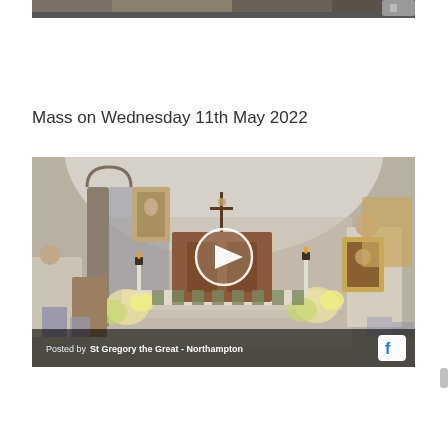[Figure (screenshot): Top portion of a church interior image, cropped at top of page]
Mass on Wednesday 11th May 2022
[Figure (screenshot): Video thumbnail of a Catholic church interior showing altar, flowers, crucifix, priest with icon, and a play button overlay. Footer reads: Posted by St Gregory the Great - Northampton with Facebook icon.]